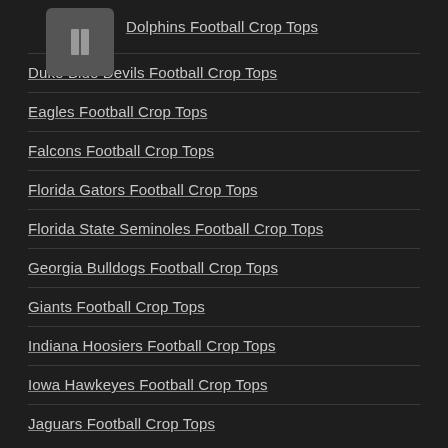Dolphins Football Crop Tops
Duke Blue Devils Football Crop Tops
Eagles Football Crop Tops
Falcons Football Crop Tops
Florida Gators Football Crop Tops
Florida State Seminoles Football Crop Tops
Georgia Bulldogs Football Crop Tops
Giants Football Crop Tops
Indiana Hoosiers Football Crop Tops
Iowa Hawkeyes Football Crop Tops
Jaguars Football Crop Tops